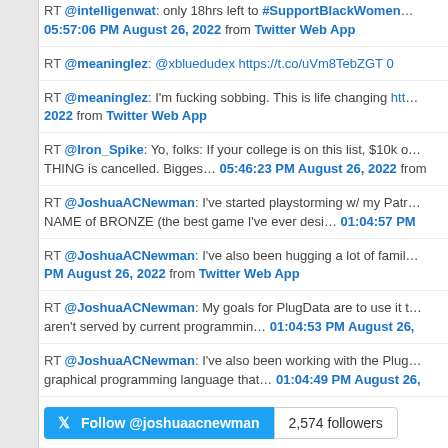RT @intelligenwat: only 18hrs left to #SupportBlackWomen… 05:57:06 PM August 26, 2022 from Twitter Web App
RT @meaninglez: @xbluedudex https://t.co/uVm8TebZGT 0
RT @meaninglez: I'm fucking sobbing. This is life changing htt… 2022 from Twitter Web App
RT @Iron_Spike: Yo, folks: If your college is on this list, $10k o… THING is cancelled. Bigges… 05:46:23 PM August 26, 2022 from
RT @JoshuaACNewman: I've started playstorming w/ my Patr… NAME of BRONZE (the best game I've ever desi… 01:04:57 PM
RT @JoshuaACNewman: I've also been hugging a lot of famil… PM August 26, 2022 from Twitter Web App
RT @JoshuaACNewman: My goals for PlugData are to use it t… aren't served by current programmin… 01:04:53 PM August 26,
RT @JoshuaACNewman: I've also been working with the Plug… graphical programming language that… 01:04:49 PM August 26,
Follow @joshuaacnewman | 2,574 followers